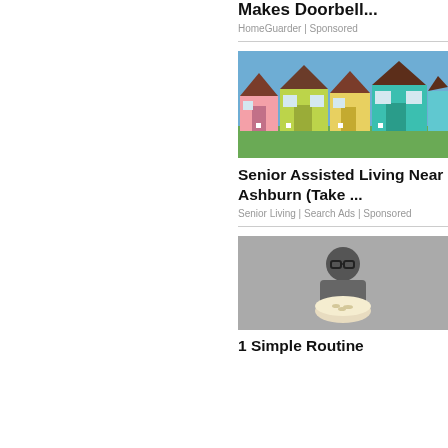Makes Doorbell...
HomeGuarder | Sponsored
[Figure (photo): Row of colorful small houses (pink, yellow-green, blue/teal) under a blue sky on a green lawn]
Senior Assisted Living Near Ashburn (Take ...
Senior Living | Search Ads | Sponsored
[Figure (photo): Person with glasses holding a bowl of food, dark/grey toned image]
1 Simple Routine